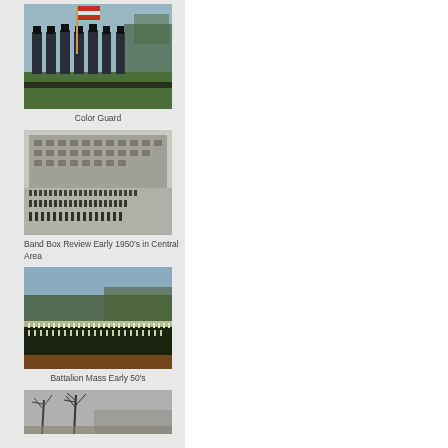[Figure (photo): Color photo of military color guard marching with flags on a field, soldiers in uniform with tall hats]
Color Guard
[Figure (photo): Black and white aerial/elevated photo of Band Box Review formation in early 1950s in Central Area, large building in background]
Band Box Review Early 1950's in Central Area
[Figure (photo): Color photo of Battalion Mass formation on field, Early 50's, trees in background]
Battalion Mass Early 50's
[Figure (photo): Black and white partial photo showing bare winter trees, partially cut off at bottom of page]